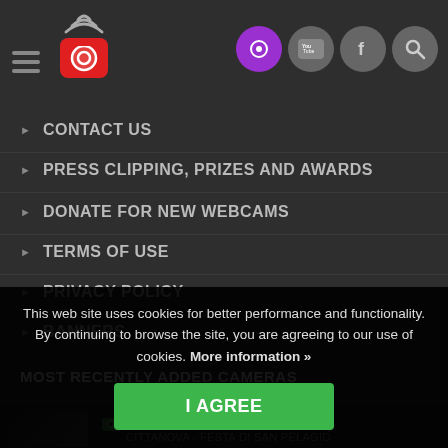Navigation header with logo and social icons
CONTACT US
PRESS CLIPPING, PRIZES AND AWARDS
DONATE FOR NEW WEBCAMS
TERMS OF USE
PRIVACY POLICY
BANNERS
MOST RECENTLY ADDED CAMERAS
NOVIGRAD
CITTANOVA - FESTA DI SAN PELAGIO
ĐURĐEVAC
ĐURĐEVAC [WATER TOWER]
LIVE
This web site uses cookies for better performance and functionality. By continuing to browse the site, you are agreeing to our use of cookies. More information »
I AGREE